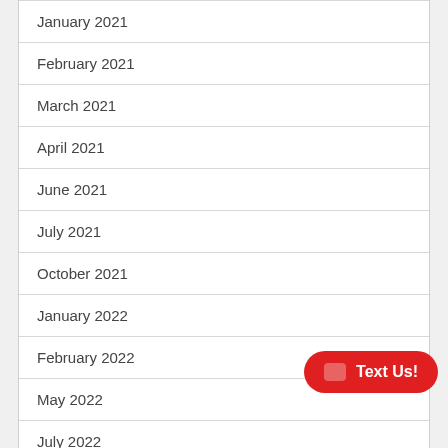January 2021
February 2021
March 2021
April 2021
June 2021
July 2021
October 2021
January 2022
February 2022
May 2022
July 2022